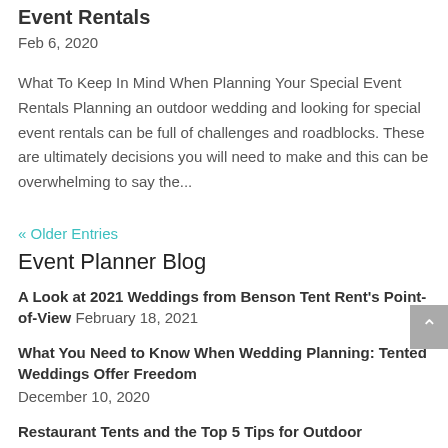Event Rentals
Feb 6, 2020
What To Keep In Mind When Planning Your Special Event Rentals Planning an outdoor wedding and looking for special event rentals can be full of challenges and roadblocks. These are ultimately decisions you will need to make and this can be overwhelming to say the...
« Older Entries
Event Planner Blog
A Look at 2021 Weddings from Benson Tent Rent's Point-of-View February 18, 2021
What You Need to Know When Wedding Planning: Tented Weddings Offer Freedom December 10, 2020
Restaurant Tents and the Top 5 Tips for Outdoor